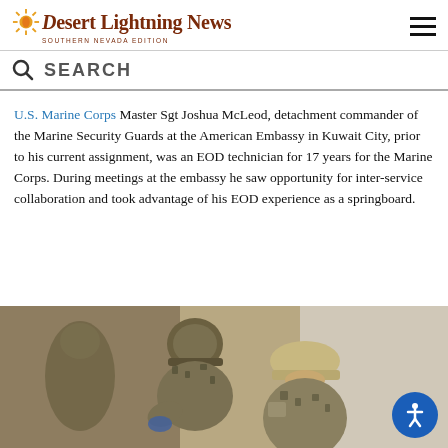Desert Lightning News SOUTHERN NEVADA EDITION
SEARCH
U.S. Marine Corps Master Sgt Joshua McLeod, detachment commander of the Marine Security Guards at the American Embassy in Kuwait City, prior to his current assignment, was an EOD technician for 17 years for the Marine Corps. During meetings at the embassy he saw opportunity for inter-service collaboration and took advantage of his EOD experience as a springboard.
[Figure (photo): Two soldiers in camouflage uniforms working together, one leaning over examining something, photographed from above/side angle in an outdoor setting.]